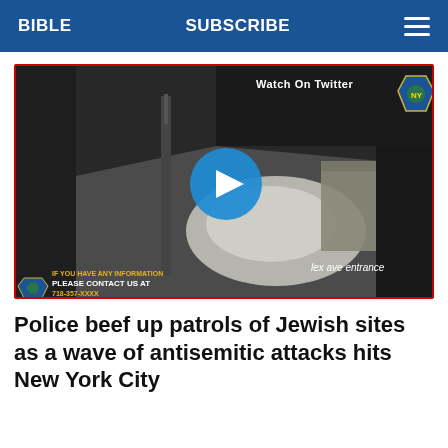BIBLE   SUBSCRIBE
[Figure (screenshot): Surveillance camera footage screenshot showing a dark outdoor scene (parking lot or street) at night. A blue play button circle is overlaid in the center. Text in upper right reads 'Watch On Twitter' with a Twitter/police badge logo. Bottom left shows NYPD logo and text 'PLEASE CONTACT US AT' with a phone number. Bottom right reads 'lex ave entrance'.]
Police beef up patrols of Jewish sites as a wave of antisemitic attacks hits New York City